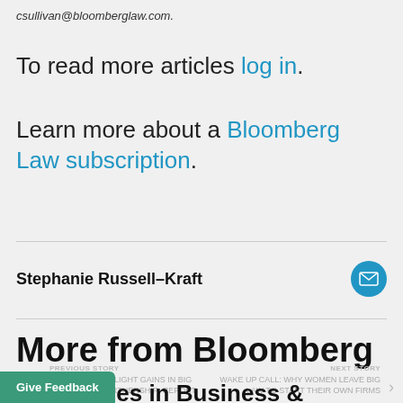csullivan@bloomberglaw.com.
To read more articles log in.
Learn more about a Bloomberg Law subscription.
Stephanie Russell–Kraft
More from Bloomberg Law
PREVIOUS STORY
WOMEN MAKE SLIGHT GAINS IN BIG LAW EQUITY PARTNERSHIP: REPORT
NEXT STORY
WAKE UP CALL: WHY WOMEN LEAVE BIG LAW TO START THEIR OWN FIRMS
Lead Stories in Business &
Give Feedback